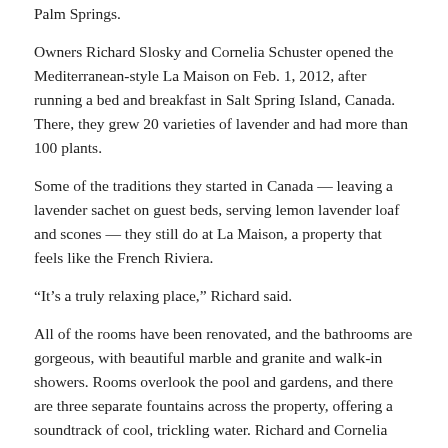Palm Springs.
Owners Richard Slosky and Cornelia Schuster opened the Mediterranean-style La Maison on Feb. 1, 2012, after running a bed and breakfast in Salt Spring Island, Canada. There, they grew 20 varieties of lavender and had more than 100 plants.
Some of the traditions they started in Canada — leaving a lavender sachet on guest beds, serving lemon lavender loaf and scones — they still do at La Maison, a property that feels like the French Riviera.
“It’s a truly relaxing place,” Richard said.
All of the rooms have been renovated, and the bathrooms are gorgeous, with beautiful marble and granite and walk-in showers. Rooms overlook the pool and gardens, and there are three separate fountains across the property, offering a soundtrack of cool, trickling water. Richard and Cornelia love to surprise their repeat guests with gift certificates and bottles of prosecco when it’s their anniversary or a homemade birthday cake, topped with real dried rose petals.
“It’s what we would like to have done for us, things that have